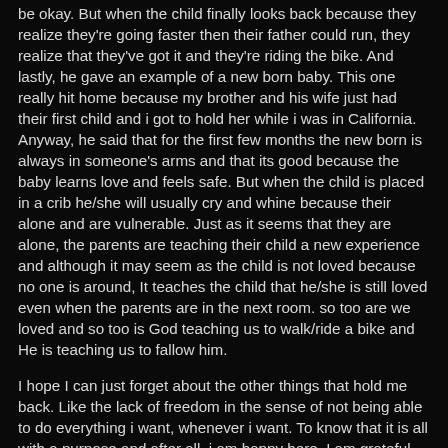be okay. But when the child finally looks back because they realize they're going faster then their father could run, they realize that they've got it and they're riding the bike. And lastly, he gave an example of a new born baby. This one really hit home because my brother and his wife just had their first child and i got to hold her while i was in California. Anyway, he said that for the first few months the new born is always in someone's arms and that its good because the baby learns love and feels safe. But when the child is placed in a crib he/she will usually cry and whine because their alone and are vulnerable. Just as it seems that they are alone, the parents are teaching their child a new experience and although it may seem as the child is not loved because no one is around, It teaches the child that he/she is still loved even when the parents are in the next room. so too are we loved and so too is God teaching us to walk/ride a bike and He is teaching us to fallow him.
I hope I can just forget about the other things that hold me back. Like the lack of freedom in the sense of not being able to do everything i want, whenever i want. To know that it is all with a purpose and after all, i am happy here. I am grateful